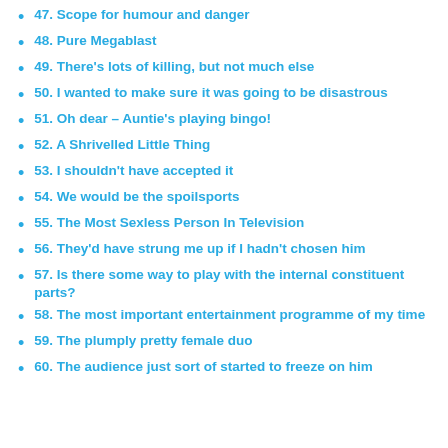47. Scope for humour and danger
48. Pure Megablast
49. There's lots of killing, but not much else
50. I wanted to make sure it was going to be disastrous
51. Oh dear – Auntie's playing bingo!
52. A Shrivelled Little Thing
53. I shouldn't have accepted it
54. We would be the spoilsports
55. The Most Sexless Person In Television
56. They'd have strung me up if I hadn't chosen him
57. Is there some way to play with the internal constituent parts?
58. The most important entertainment programme of my time
59. The plumply pretty female duo
60. The audience just sort of started to freeze on him